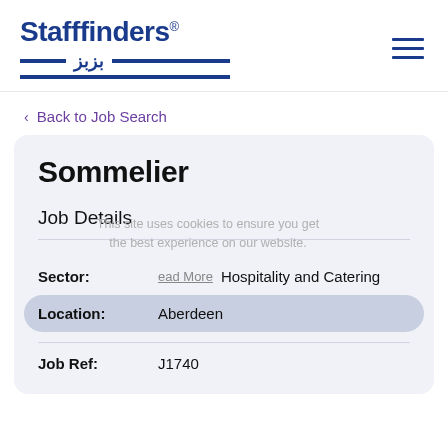[Figure (logo): Stafffinders logo with blue bold text and Arabic script underline with horizontal bars]
‹ Back to Job Search
Sommelier
Job Details
This site uses cookies to ensure you get the best experience on our website.
Sector: Hospitality and Catering
Location: Aberdeen
Job Ref: J1740